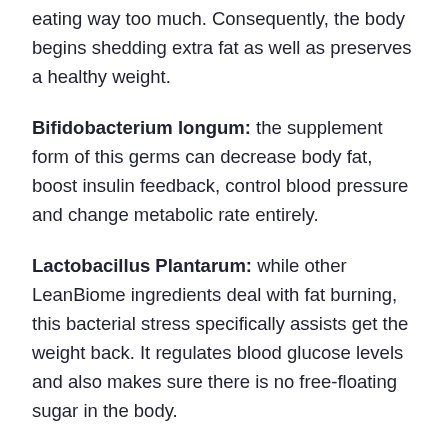eating way too much. Consequently, the body begins shedding extra fat as well as preserves a healthy weight.
Bifidobacterium longum: the supplement form of this germs can decrease body fat, boost insulin feedback, control blood pressure and change metabolic rate entirely.
Lactobacillus Plantarum: while other LeanBiome ingredients deal with fat burning, this bacterial stress specifically assists get the weight back. It regulates blood glucose levels and also makes sure there is no free-floating sugar in the body.
Bifidobacterium breve: this LeanBiome ingredient